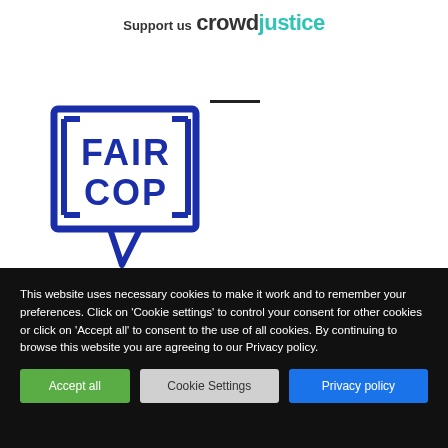Support us crowdjustice
[Figure (logo): Fair Cop logo — a speech bubble containing the text FAIR COP in bold blue letters with a square bracket border, drawn in dark blue outline style]
This website uses necessary cookies to make it work and to remember your preferences. Click on 'Cookie settings' to control your consent for other cookies or click on 'Accept all' to consent to the use of all cookies. By continuing to browse this website you are agreeing to our Privacy policy.
Accept all | Cookie Settings | Privacy policy